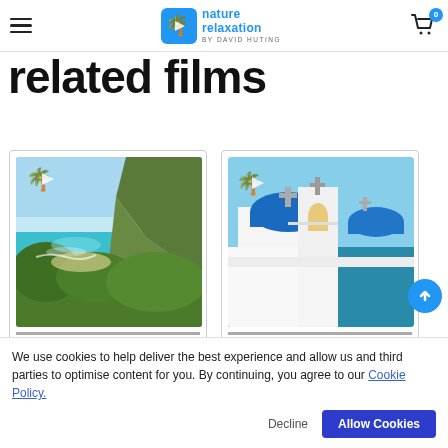nature relaxation by David Huting — hamburger menu, logo, cart
related films
[Figure (photo): Coastal landscape with green cliffs, turquoise sea and clear sky, with Nature Relaxation logo overlay]
[Figure (photo): Santorini Greece blue-domed white church with sea view in background, with Nature Relaxation logo overlay]
We use cookies to help deliver the best experience and allow us and third parties to optimise content for you. By continuing, you agree to our Cookie Policy.
Decline  Allow Cookies